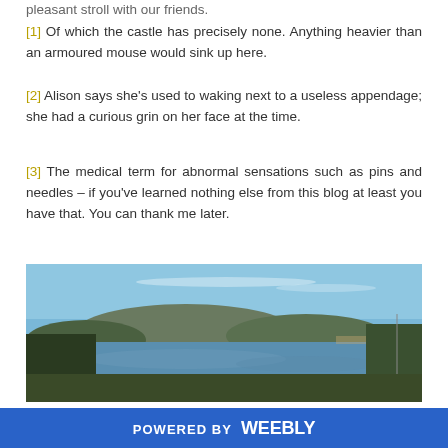pleasant stroll with our friends.
[1] Of which the castle has precisely none. Anything heavier than an armoured mouse would sink up here.
[2] Alison says she’s used to waking next to a useless appendage; she had a curious grin on her face at the time.
[3] The medical term for abnormal sensations such as pins and needles – if you’ve learned nothing else from this blog at least you have that. You can thank me later.
[Figure (photo): Panoramic landscape photo of a calm lake or loch reflecting mountains and blue sky, with green vegetation and trees on the banks.]
First though was a stop at one of the friendliest cafes we’ve visited. Access was through a clothing store and upstairs to a light and airy seating area. Walking up the stairs I was slightly tense from holding
POWERED BY weebly